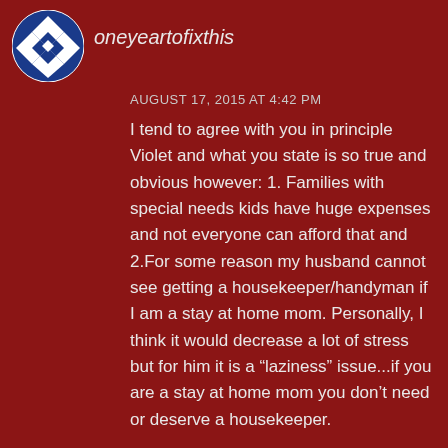[Figure (logo): Blue and white diamond/quilt pattern circular avatar icon]
oneyeartofixthis
AUGUST 17, 2015 AT 4:42 PM
I tend to agree with you in principle Violet and what you state is so true and obvious however: 1. Families with special needs kids have huge expenses and not everyone can afford that and 2.For some reason my husband cannot see getting a housekeeper/handyman if I am a stay at home mom. Personally, I think it would decrease a lot of stress but for him it is a “laziness” issue...if you are a stay at home mom you don’t need or deserve a housekeeper.
Like